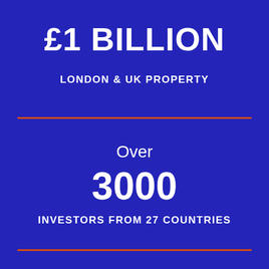£1 BILLION
LONDON & UK PROPERTY
Over
3000
INVESTORS FROM 27 COUNTRIES